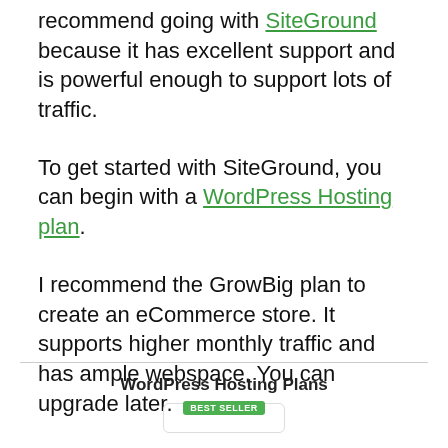recommend going with SiteGround because it has excellent support and is powerful enough to support lots of traffic.
To get started with SiteGround, you can begin with a WordPress Hosting plan.
I recommend the GrowBig plan to create an eCommerce store. It supports higher monthly traffic and has ample webspace. You can upgrade later.
WordPress Hosting Plans
[Figure (other): Partial view of a WordPress Hosting Plans pricing card with a 'BEST SELLER' badge]